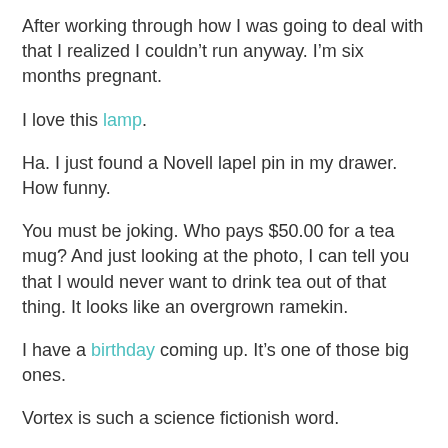After working through how I was going to deal with that I realized I couldn't run anyway. I'm six months pregnant.
I love this lamp.
Ha. I just found a Novell lapel pin in my drawer. How funny.
You must be joking. Who pays $50.00 for a tea mug? And just looking at the photo, I can tell you that I would never want to drink tea out of that thing. It looks like an overgrown ramekin.
I have a birthday coming up. It's one of those big ones.
Vortex is such a science fictionish word.
Um. I hate to break it to you, but no, we didn't actually win.